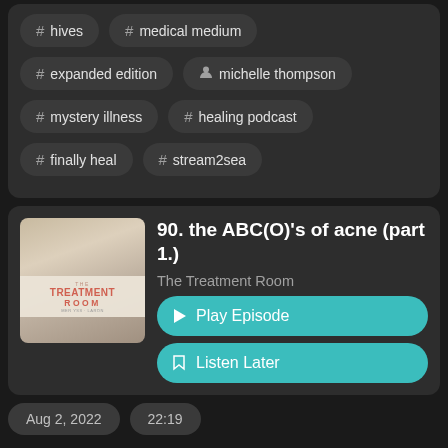# hives
# medical medium
# expanded edition
person michelle thompson
# mystery illness
# healing podcast
# finally heal
# stream2sea
90. the ABC(O)'s of acne (part 1.)
The Treatment Room
Play Episode
Listen Later
Aug 2, 2022   22:19